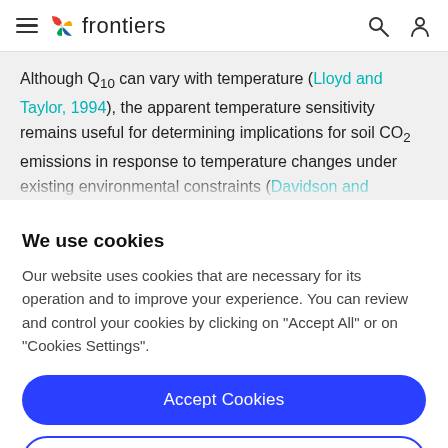frontiers
Although Q10 can vary with temperature (Lloyd and Taylor, 1994), the apparent temperature sensitivity remains useful for determining implications for soil CO2 emissions in response to temperature changes under existing environmental constraints (Davidson and…
We use cookies
Our website uses cookies that are necessary for its operation and to improve your experience. You can review and control your cookies by clicking on "Accept All" or on "Cookies Settings".
Accept Cookies
Cookies Settings